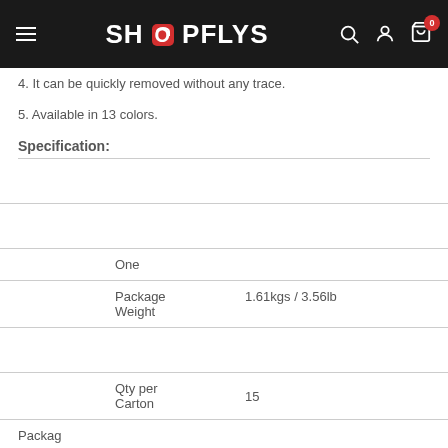SHOPFLYS
4. It can be quickly removed without any trace.
5. Available in 13 colors.
Specification:
| Field | Value |
| --- | --- |
|  | One |
| Package Weight | 1.61kgs / 3.56lb |
|  |  |
| Qty per Carton | 15 |
| Package |  |
|  | Carton |